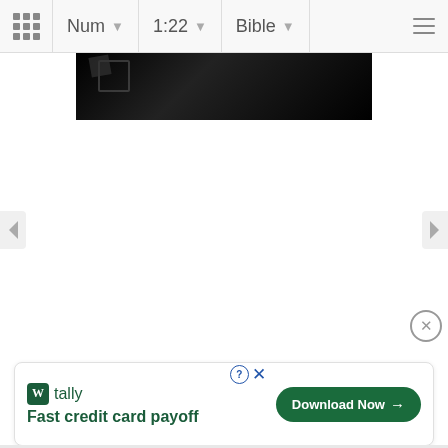Num  1:22  Bible
[Figure (photo): Partial dark/black image visible at top of content area, appears to be a person in dark clothing]
[Figure (screenshot): Navigation arrows on left and right sides of the page for browsing Bible verses]
[Figure (other): Advertisement banner: Tally app - Fast credit card payoff, with Download Now button and close/help controls]